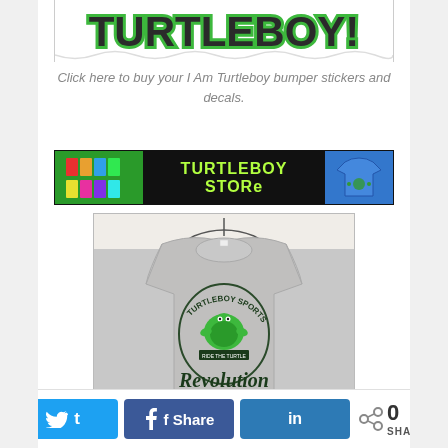[Figure (photo): Partial view of a Turtleboy bumper sticker/decal showing the word TURTLEBOY! in bold dark letters with green outline on white background]
Click here to buy your I Am Turtleboy bumper stickers and decals.
[Figure (photo): Turtleboy Store banner advertisement with green background on left, black center with TURTLEBOY STORE text in neon green, and blue background on right with t-shirt imagery]
[Figure (photo): Gray tank top hanging on a hanger with Turtleboy Sports Revolution logo printed in dark green, featuring a cartoon turtle mascot with text 'RIDE THE TURTLE' and 'Revolution' in script]
0 SHARES